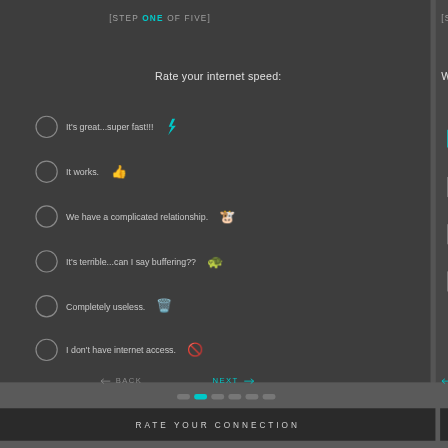[STEP ONE OF FIVE]
Rate your internet speed:
It's great...super fast!!!
It works.
We have a complicated relationship.
It's terrible...can I say buffering??
Completely useless.
I don't have internet access.
[STEP TW...]
What you us...
Work (checked)
Education
Shopping
Entertainment
RATE YOUR CONNECTION